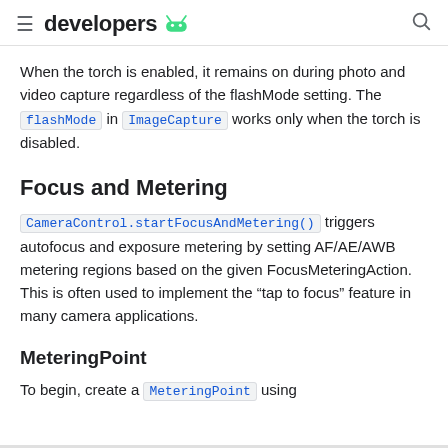developers
When the torch is enabled, it remains on during photo and video capture regardless of the flashMode setting. The flashMode in ImageCapture works only when the torch is disabled.
Focus and Metering
CameraControl.startFocusAndMetering() triggers autofocus and exposure metering by setting AF/AE/AWB metering regions based on the given FocusMeteringAction. This is often used to implement the “tap to focus” feature in many camera applications.
MeteringPoint
To begin, create a MeteringPoint using